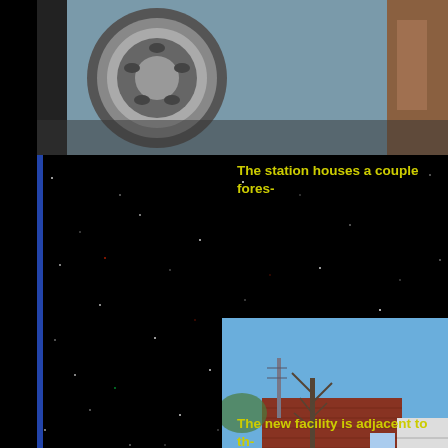[Figure (photo): Top strip showing close-up of a vehicle wheel/tire rim on the left and what appears to be equipment on the right, against a grayish background]
The station houses a couple fores-
[Figure (photo): Building exterior photo showing a brick building with white garage door, a bare tree in front, blue sky background, and a driveway curb]
The new facility is adjacent to th-